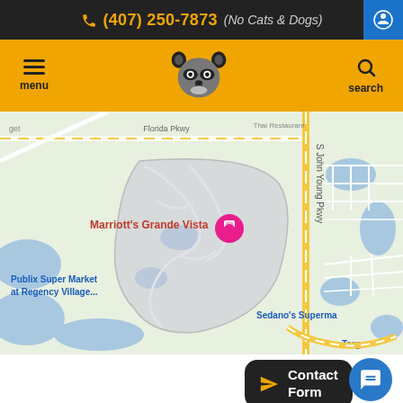(407) 250-7873 (No Cats & Dogs)
[Figure (screenshot): Website navigation bar with hamburger menu, raccoon logo, and search icon on yellow background]
[Figure (map): Google Maps view showing Marriott's Grande Vista area in Orlando, Florida with Publix Super Market at Regency Village, S John Young Pkwy, Sedano's Supermarket, and Target visible]
[Figure (other): Contact Form button with yellow send icon and dark background, and a blue chat circle button]
Testimonials